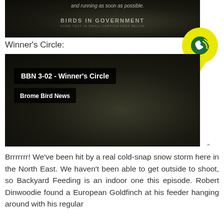[Figure (screenshot): Dark video thumbnail showing 'Birds in Government' text overlay with faded white italic text at top reading 'and running as soon as possible.']
Winner's Circle:
[Figure (screenshot): Video player thumbnail with dark moody background. Title overlay reads 'BBN 3-02 - Winner's Circle' and below it 'Brome Bird News'. A yellow phone/location icon bubble appears in the top right corner. A collapse/up arrow is visible at the right edge below the bubble.]
Brrrrrrr! We've been hit by a real cold-snap snow storm here in the North East. We haven't been able to get outside to shoot, so Backyard Feeding is an indoor one this episode. Robert Dinwoodie found a European Goldfinch at his feeder hanging around with his regular